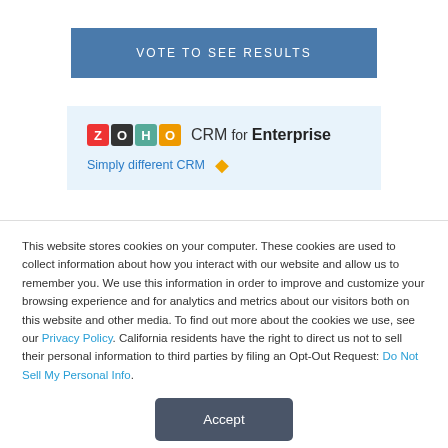VOTE TO SEE RESULTS
[Figure (logo): Zoho CRM for Enterprise advertisement banner with logo and 'Simply different CRM' tagline]
This website stores cookies on your computer. These cookies are used to collect information about how you interact with our website and allow us to remember you. We use this information in order to improve and customize your browsing experience and for analytics and metrics about our visitors both on this website and other media. To find out more about the cookies we use, see our Privacy Policy. California residents have the right to direct us not to sell their personal information to third parties by filing an Opt-Out Request: Do Not Sell My Personal Info.
Accept